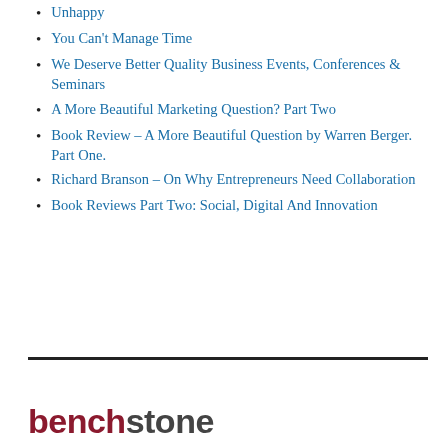Unhappy
You Can't Manage Time
We Deserve Better Quality Business Events, Conferences & Seminars
A More Beautiful Marketing Question? Part Two
Book Review – A More Beautiful Question by Warren Berger. Part One.
Richard Branson – On Why Entrepreneurs Need Collaboration
Book Reviews Part Two: Social, Digital And Innovation
[Figure (logo): benchstone logo with 'bench' in dark red/maroon bold sans-serif and 'stone' in dark gray bold sans-serif]